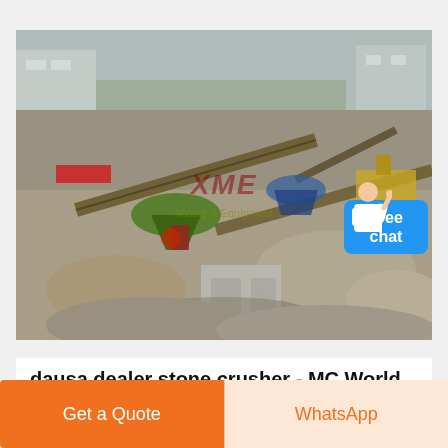[Figure (photo): Aerial/elevated view of an industrial stone crusher facility with conveyor belts, crushers, and piles of crushed stone/aggregate. XME watermark overlaid on the image. A 'Free chat' badge with a person avatar appears in the upper-right corner of the image.]
dausa dealer stone crusher - MC World
Get a Quote
WhatsApp